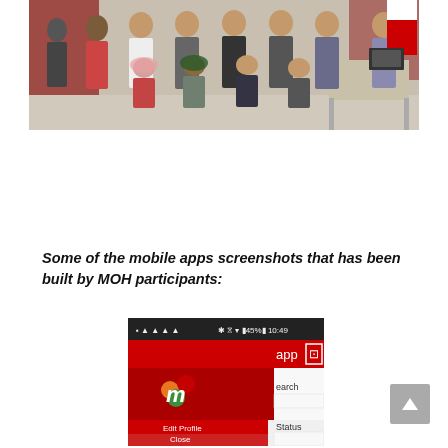[Figure (photo): Group photo of MOH hackathon participants standing and kneeling in front of a red backdrop in an indoor venue.]
Some of the mobile apps screenshots that has been built by MOH participants:
[Figure (screenshot): Mobile app screenshot showing a red-themed app interface with a stylized 'm' logo, Edit Profile and Close menu options, and search/status fields visible.]